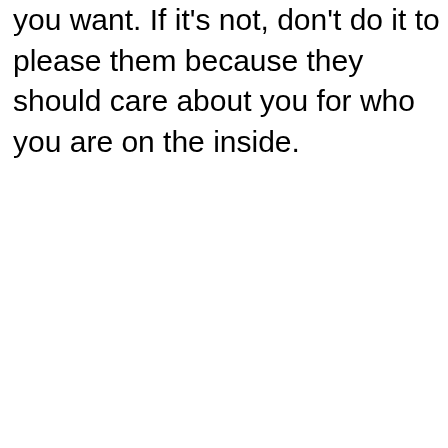you want. If it's not, don't do it to please them because they should care about you for who you are on the inside.